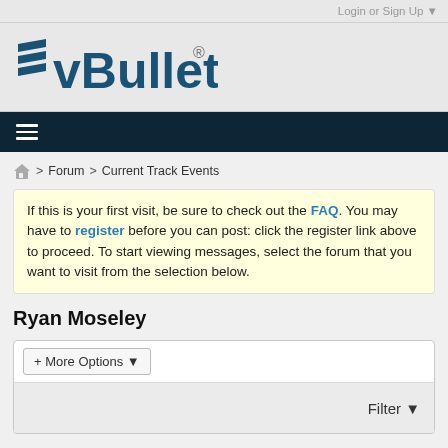Login or Sign Up ▼
[Figure (logo): vBulletin logo with registered trademark symbol]
≡ (navigation hamburger menu)
🏠 > Forum > Current Track Events
If this is your first visit, be sure to check out the FAQ. You may have to register before you can post: click the register link above to proceed. To start viewing messages, select the forum that you want to visit from the selection below.
Ryan Moseley
+ More Options ▼
Filter ▼